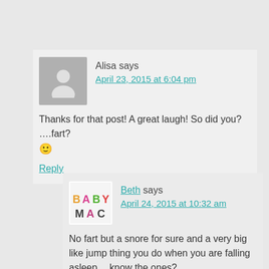Alisa says
April 23, 2015 at 6:04 pm
Thanks for that post! A great laugh! So did you? ….fart? 🙂
Reply
Beth says
April 24, 2015 at 10:32 am
No fart but a snore for sure and a very big like jump thing you do when you are falling asleep… know the ones?
Reply